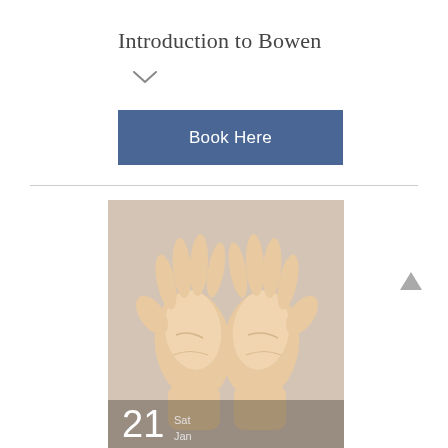Introduction to Bowen
[Figure (other): Chevron/down arrow icon]
Book Here
[Figure (photo): Two open palms facing upward on a beige background, with date overlay showing '21 Sat Jan']